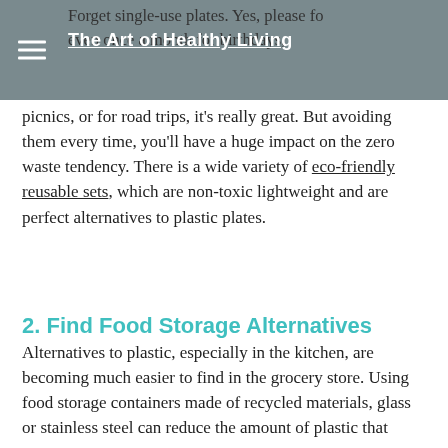The Art of Healthy Living
Forget single-use plates. Yes, please forget them definitely. But using them even once a month for birthdays, picnics, or for road trips, it's really great. But avoiding them every time, you'll have a huge impact on the zero waste tendency. There is a wide variety of eco-friendly reusable sets, which are non-toxic lightweight and are perfect alternatives to plastic plates.
2. Find Food Storage Alternatives
Alternatives to plastic, especially in the kitchen, are becoming much easier to find in the grocery store. Using food storage containers made of recycled materials, glass or stainless steel can reduce the amount of plastic that comes into contact with your food.